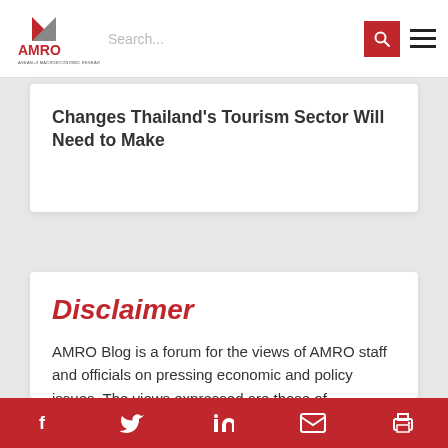AMRO — Search bar and navigation
Changes Thailand's Tourism Sector Will Need to Make
Disclaimer
AMRO Blog is a forum for the views of AMRO staff and officials on pressing economic and policy issues. The views expressed are those of